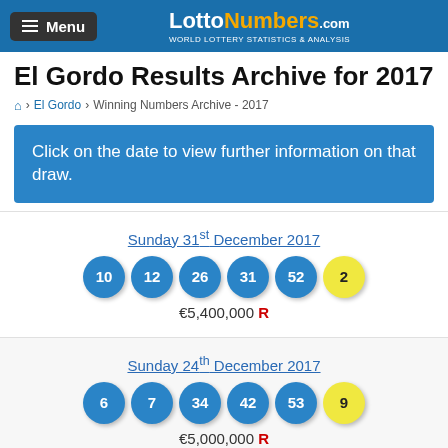Menu | LottoNumbers.com WORLD LOTTERY STATISTICS & ANALYSIS
El Gordo Results Archive for 2017
Home > El Gordo > Winning Numbers Archive - 2017
Click on the date to view further information on that draw.
Sunday 31st December 2017 — balls: 10, 12, 26, 31, 52, 2 — €5,400,000 R
Sunday 24th December 2017 — balls: 6, 7, 34, 42, 53, 9 — €5,000,000 R